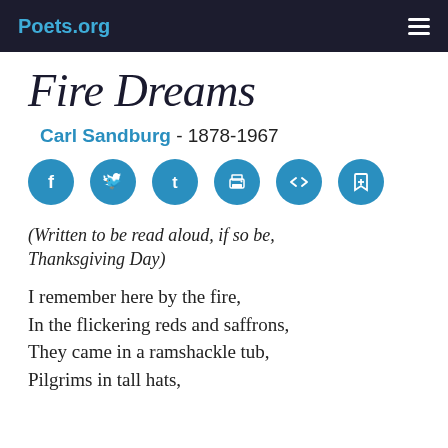Poets.org
Fire Dreams
Carl Sandburg - 1878-1967
[Figure (infographic): Row of six blue circular social/action icon buttons: Facebook, Twitter, Tumblr, Print, Embed/Code, Bookmark]
(Written to be read aloud, if so be, Thanksgiving Day)
I remember here by the fire,
In the flickering reds and saffrons,
They came in a ramshackle tub,
Pilgrims in tall hats,